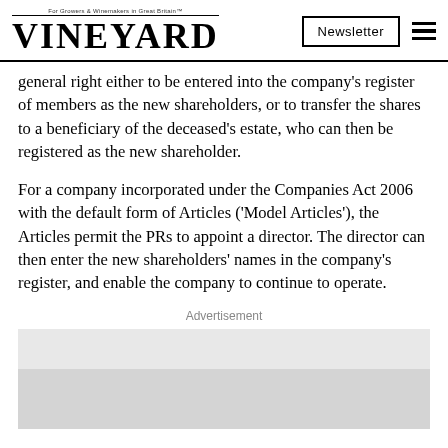VINEYARD | Newsletter
general right either to be entered into the company's register of members as the new shareholders, or to transfer the shares to a beneficiary of the deceased's estate, who can then be registered as the new shareholder.
For a company incorporated under the Companies Act 2006 with the default form of Articles ('Model Articles'), the Articles permit the PRs to appoint a director. The director can then enter the new shareholders' names in the company's register, and enable the company to continue to operate.
Advertisement